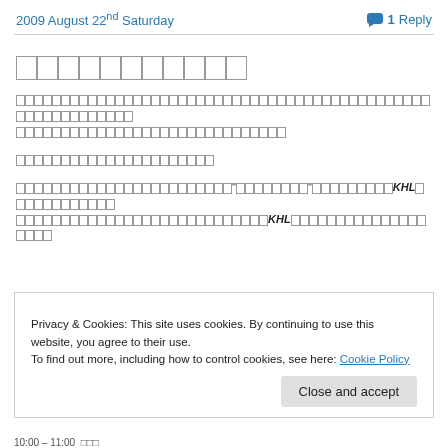2009 August 22nd Saturday   1 Reply
□□□□□□□□□□□
□□□□□□□□□□□□□□□□□□□□□□□□□□□□□□□□□□□□□□□□□□□□□□□□□□□□□□□□□□□□□□□□□□□□□□□□□□□□□□□□□□□□□□□□□
□□□□□□□□□□□□□□□□□□□□□□□□□□□□□
□□□□□□□□□□□□□□□□□□□□□□□□□□□□□□□□□□□□□□□□□□□□□□KHL□□□□□□□□□□□□□□□□□□□□□□□□□□□□□□□□□□□□□□□□□□□□□□□□KHL□□□□□□□□□□□□□□□□□□□□□□□□□□□
Privacy & Cookies: This site uses cookies. By continuing to use this website, you agree to their use.
To find out more, including how to control cookies, see here: Cookie Policy
Close and accept